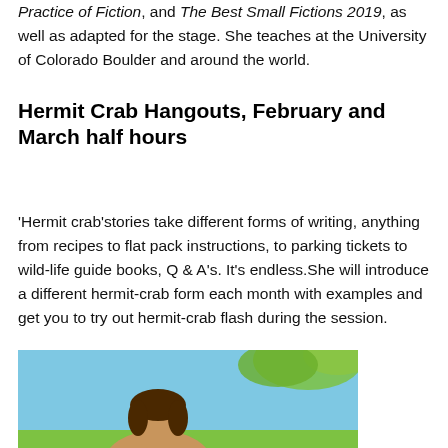Practice of Fiction, and The Best Small Fictions 2019, as well as adapted for the stage. She teaches at the University of Colorado Boulder and around the world.
Hermit Crab Hangouts, February and March half hours
'Hermit crab'stories take different forms of writing, anything from recipes to flat pack instructions, to parking tickets to wild-life guide books, Q & A's. It's endless.She will introduce a different hermit-crab form each month with examples and get you to try out hermit-crab flash during the session.
[Figure (photo): Photo of a person outdoors with blue sky and green foliage in background]